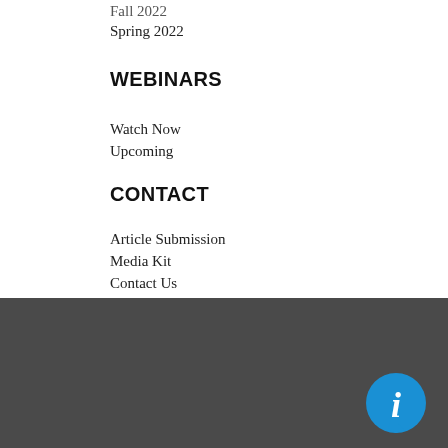Fall 2022
Spring 2022
WEBINARS
Watch Now
Upcoming
CONTACT
Article Submission
Media Kit
Contact Us
ABOUT DRJ
Disaster Recovery Journal is the industry's largest resource for business continuity, disaster recovery, crisis management, and risk management, reaching a global network of more than 138,000 professionals. Offering